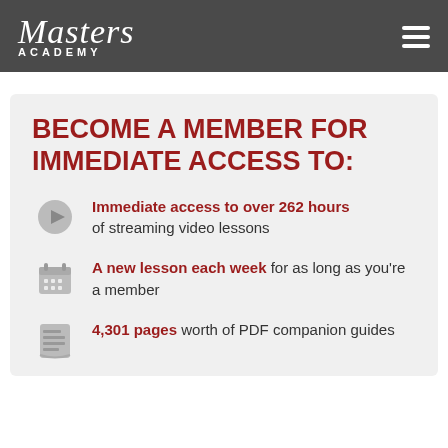Masters Academy
BECOME A MEMBER FOR IMMEDIATE ACCESS TO:
Immediate access to over 262 hours of streaming video lessons
A new lesson each week for as long as you're a member
4,301 pages worth of PDF companion guides